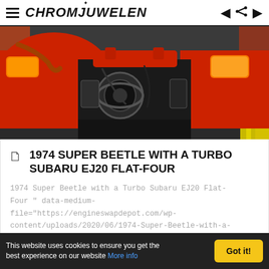CHROMJUWELEN
[Figure (photo): Engine bay of a red 1974 Super Beetle showing a Turbo Subaru EJ20 flat-four engine swap, with red bodywork, taillights visible on both sides, and workshop environment]
1974 SUPER BEETLE WITH A TURBO SUBARU EJ20 FLAT-FOUR
1974 Super Beetle with a Turbo Subaru EJ20 Flat-Four " data-medium-file="https://engineswapdepot.com/wp-content/uploads/2020/06/1974-Super-Beetle-with-a-Turbo-Subaru-EJ20-Flat-Four-01-600x750.jpg" da...
This website uses cookies to ensure you get the best experience on our website More info